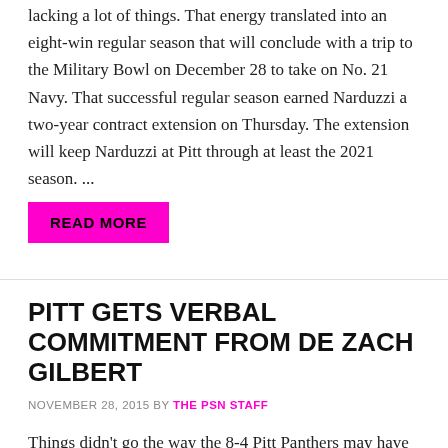lacking a lot of things. That energy translated into an eight-win regular season that will conclude with a trip to the Military Bowl on December 28 to take on No. 21 Navy. That successful regular season earned Narduzzi a two-year contract extension on Thursday. The extension will keep Narduzzi at Pitt through at least the 2021 season. ...
READ MORE
PITT GETS VERBAL COMMITMENT FROM DE ZACH GILBERT
NOVEMBER 28, 2015 BY THE PSN STAFF
Things didn't go the way the 8-4 Pitt Panthers may have wanted on Friday against Miami, but Pitt head coach Pat Narduzzi had a good day nonetheless when the Panthers received a verbal commitment from South Mecklenburg